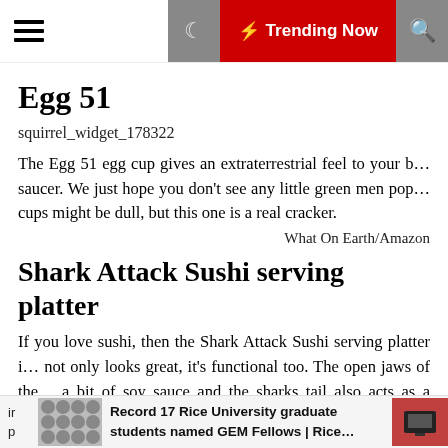Trending Now
Egg 51
squirrel_widget_178322
The Egg 51 egg cup gives an extraterrestrial feel to your b... saucer. We just hope you don't see any little green men pop... cups might be dull, but this one is a real cracker.
What On Earth/Amazon
Shark Attack Sushi serving platter
If you love sushi, then the Shark Attack Sushi serving platter i... not only looks great, it's functional too. The open jaws of the... a bit of soy sauce and the sharks tail also acts as a resting pl... on a fresh fish food snack and dine in style with this aw...
Record 17 Rice University graduate students named GEM Fellows | Rice...